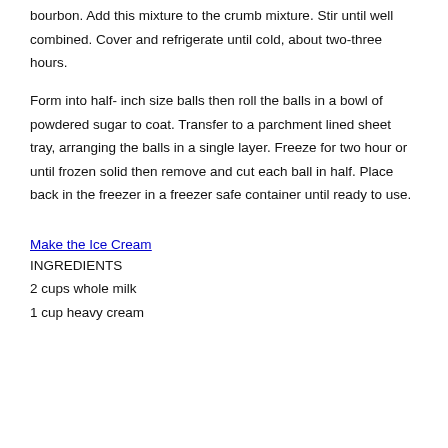bourbon. Add this mixture to the crumb mixture. Stir until well combined. Cover and refrigerate until cold, about two-three hours.
Form into half- inch size balls then roll the balls in a bowl of powdered sugar to coat. Transfer to a parchment lined sheet tray, arranging the balls in a single layer. Freeze for two hour or until frozen solid then remove and cut each ball in half. Place back in the freezer in a freezer safe container until ready to use.
Make the Ice Cream
INGREDIENTS
2 cups whole milk
1 cup heavy cream